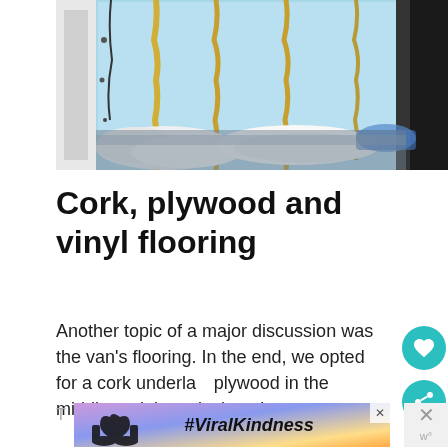[Figure (photo): Interior of a van showing insulation work in progress — blue foam board panels on the walls with yellow expanding foam sealant applied along the edges and seams. A white bag or material is visible on the van floor.]
Cork, plywood and vinyl flooring
Another topic of a major discussion was the van's flooring. In the end, we opted for a cork underlay, plywood in the middle and then vinyl on the top.
[Figure (infographic): Advertisement banner with heart-hands silhouette and #ViralKindness hashtag text]